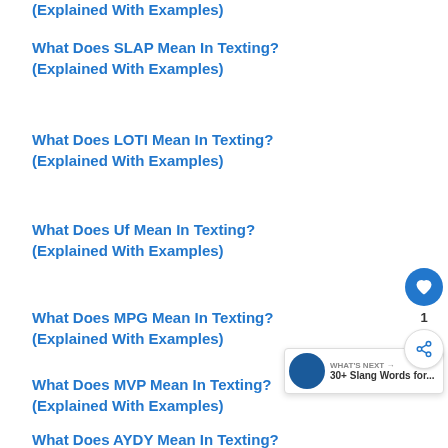(Explained With Examples)
What Does SLAP Mean In Texting? (Explained With Examples)
What Does LOTI Mean In Texting? (Explained With Examples)
What Does Uf Mean In Texting? (Explained With Examples)
What Does MPG Mean In Texting? (Explained With Examples)
What Does MVP Mean In Texting? (Explained With Examples)
What Does AYDY Mean In Texting? (Explained With Examples)